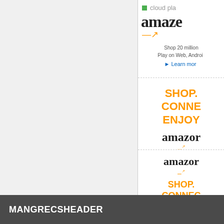[Figure (screenshot): Amazon Cloud Player advertisement - showing Amazon logo, 'cloud player', 'Shop 20 million', 'Play on Web, Android', 'Learn more' link]
[Figure (screenshot): Amazon advertisement with orange text 'SHOP. CONNECT. ENJOY.' and Amazon logo, Privacy link]
[Figure (screenshot): Amazon advertisement with logo and orange text 'SHOP. CONNECT. ENJOY.']
MANGRECSHEADER